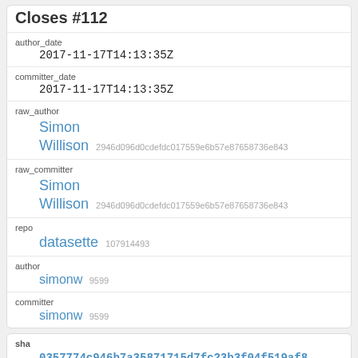Closes #112
| author_date | 2017-11-17T14:13:35Z |
| committer_date | 2017-11-17T14:13:35Z |
| raw_author | Simon Willison 2946d096d0cdefdc017559e6b57e87658736e843 |
| raw_committer | Simon Willison 2946d096d0cdefdc017559e6b57e87658736e843 |
| repo | datasette 107914493 |
| author | simonw 9599 |
| committer | simonw 9599 |
| sha | 0357774c946b7a35871715d7fc23b3f04f519af8 |